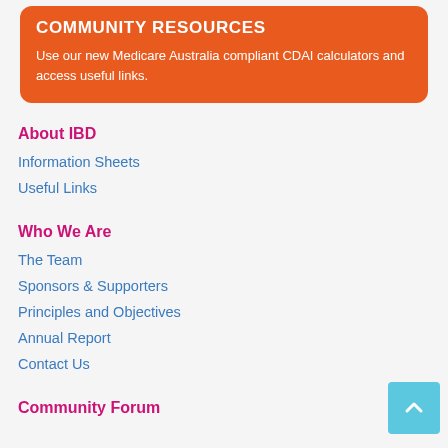COMMUNITY RESOURCES
Use our new Medicare Australia compliant CDAI calculators and access useful links.
About IBD
Information Sheets
Useful Links
Who We Are
The Team
Sponsors & Supporters
Principles and Objectives
Annual Report
Contact Us
Community Forum